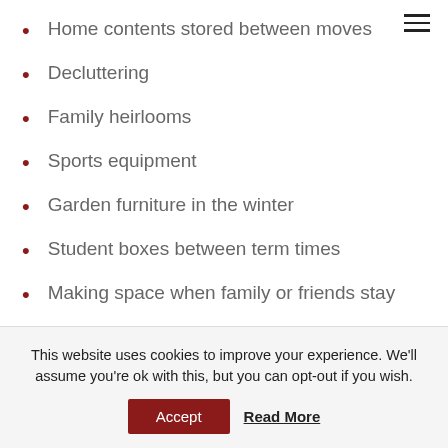Home contents stored between moves
Decluttering
Family heirlooms
Sports equipment
Garden furniture in the winter
Student boxes between term times
Making space when family or friends stay
Garage or shed overspill
This website uses cookies to improve your experience. We'll assume you're ok with this, but you can opt-out if you wish.
Accept  Read More